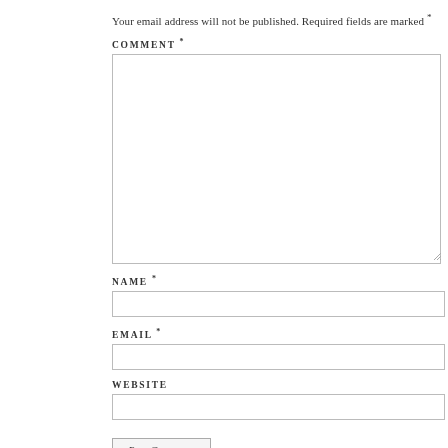Your email address will not be published. Required fields are marked *
COMMENT *
NAME *
EMAIL *
WEBSITE
Post Comment